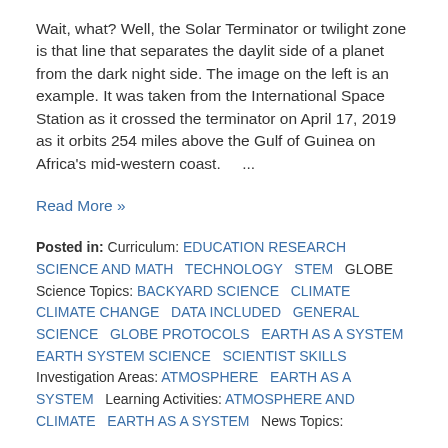Wait, what? Well, the Solar Terminator or twilight zone is that line that separates the daylit side of a planet from the dark night side. The image on the left is an example. It was taken from the International Space Station as it crossed the terminator on April 17, 2019 as it orbits 254 miles above the Gulf of Guinea on Africa's mid-western coast.    ...
Read More »
Posted in: Curriculum: EDUCATION RESEARCH SCIENCE AND MATH  TECHNOLOGY  STEM  GLOBE Science Topics: BACKYARD SCIENCE  CLIMATE  CLIMATE CHANGE  DATA INCLUDED  GENERAL SCIENCE  GLOBE PROTOCOLS  EARTH AS A SYSTEM  EARTH SYSTEM SCIENCE  SCIENTIST SKILLS Investigation Areas: ATMOSPHERE  EARTH AS A SYSTEM  Learning Activities: ATMOSPHERE AND CLIMATE  EARTH AS A SYSTEM  News Topics: